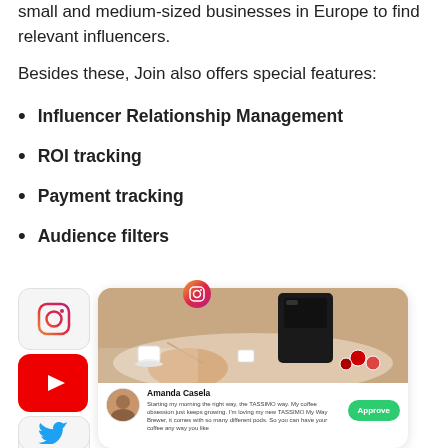small and medium-sized businesses in Europe to find relevant influencers.
Besides these, Join also offers special features:
Influencer Relationship Management
ROI tracking
Payment tracking
Audience filters
[Figure (screenshot): A UI mockup showing social media platform icons (Instagram, YouTube, Facebook, Twitter) on the left side, and a main card on the right showing an influencer post photo of a coffee scene, with Amanda Casela's name, a caption about TASSIMO coffee, and an Approve button. An Instagram logo floats above the main card.]